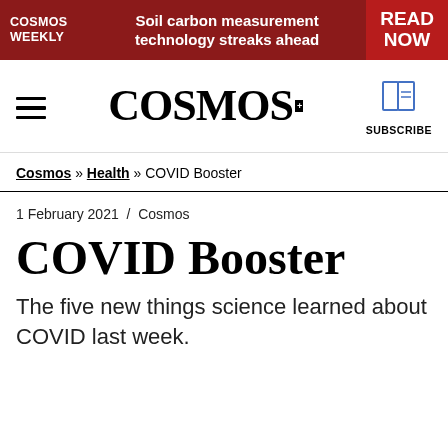COSMOS WEEKLY | Soil carbon measurement technology streaks ahead | READ NOW
[Figure (logo): COSMOS magazine logo with hamburger menu and subscribe icon]
Cosmos » Health » COVID Booster
1 February 2021  /  Cosmos
COVID Booster
The five new things science learned about COVID last week.